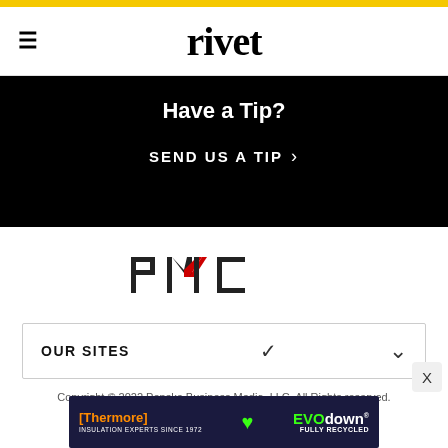rivet
Have a Tip?
SEND US A TIP >
[Figure (logo): PMC logo with red accent on M letter]
OUR SITES
Copyright © 2022 Penske Business Media, LLC. All Rights Reserved.
Powered by WordPress.com VIP
[Figure (photo): Thermore EVO down advertisement banner — insulation experts since 1972, fully recycled]